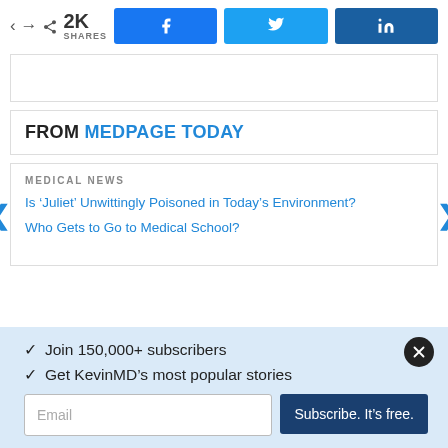[Figure (screenshot): Social share bar with 2K shares count and Facebook, Twitter, LinkedIn buttons]
FROM MEDPAGE TODAY
MEDICAL NEWS
Is ‘Juliet’ Unwittingly Poisoned in Today’s Environment?
Who Gets to Go to Medical School?
✓ Join 150,000+ subscribers
✓ Get KevinMD’s most popular stories